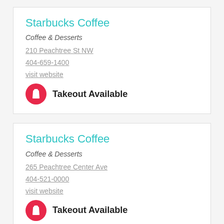Starbucks Coffee
Coffee & Desserts
210 Peachtree St NW
404-659-1400
visit website
Takeout Available
Starbucks Coffee
Coffee & Desserts
265 Peachtree Center Ave
404-521-0000
visit website
Takeout Available